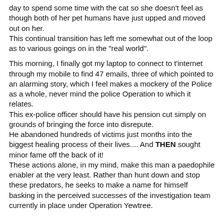day to spend some time with the cat so she doesn't feel as though both of her pet humans have just upped and moved out on her.
This continual transition has left me somewhat out of the loop as to various goings on in the "real world".
This morning, I finally got my laptop to connect to t'internet through my mobile to find 47 emails, three of which pointed to an alarming story, which I feel makes a mockery of the Police as a whole, never mind the police Operation to which it relates.
This ex-police officer should have his pension cut simply on grounds of bringing the force into disrepute.
He abandoned hundreds of victims just months into the biggest healing process of their lives.... And THEN sought minor fame off the back of it!
These actions alone, in my mind, make this man a paedophile enabler at the very least. Rather than hunt down and stop these predators, he seeks to make a name for himself basking in the perceived successes of the investigation team currently in place under Operation Yewtree.